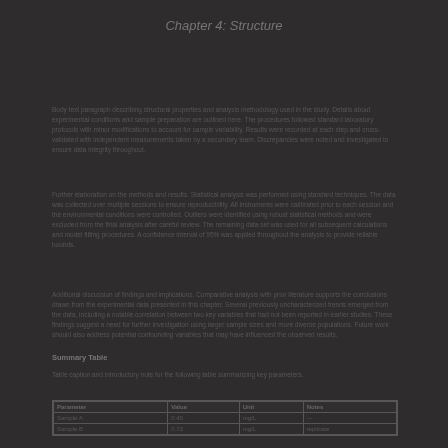Chapter 4: Structure
Body text paragraph describing structural properties and analysis methodology used in the study. Details about experimental conditions and sample preparation are outlined here.
Further elaboration on the methods and results. Statistical analysis was performed using standard techniques. The data was collected over multiple sessions.
Additional discussion of findings and implications. Comparative analysis with prior literature supports the conclusions drawn from the experimental data presented.
Summary Table
Table caption and introductory note for the following table summarizing key parameters.
| Parameter | Value |
| --- | --- |
| Sample A | 0.45 |
| Sample B | 0.72 |